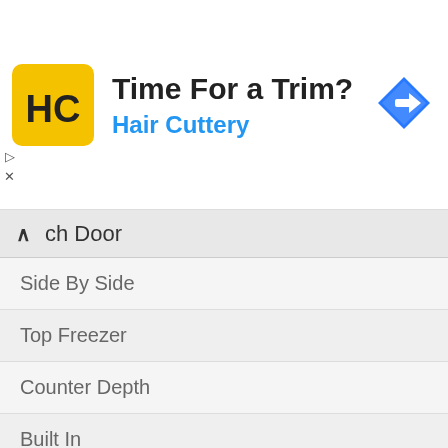[Figure (logo): Hair Cuttery advertisement banner with yellow logo showing HC initials, title 'Time For a Trim?', subtitle 'Hair Cuttery', and a blue navigation arrow icon]
ch Door
Side By Side
Top Freezer
Counter Depth
Built In
Compact
Wine Refrigerators
Stainless Steel
Energy Star
Freezerless
Freezers